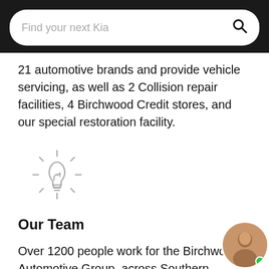Find your next Kia
21 automotive brands and provide vehicle servicing, as well as 2 Collision repair facilities, 4 Birchwood Credit stores, and our special restoration facility.
[Figure (illustration): Lightbulb icon with rays, gray outline style]
Our Team
Over 1200 people work for the Birchwood Automotive Group, across Southern Manitoba Saskatchewan. Our service technicians are